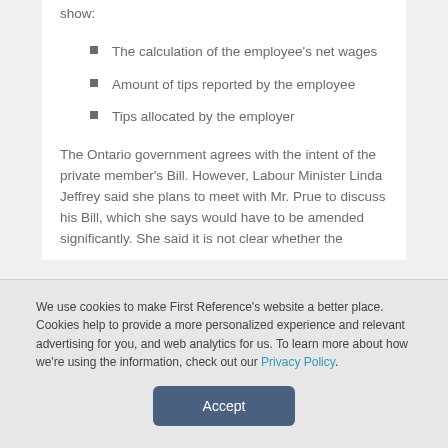show:
The calculation of the employee's net wages
Amount of tips reported by the employee
Tips allocated by the employer
The Ontario government agrees with the intent of the private member's Bill. However, Labour Minister Linda Jeffrey said she plans to meet with Mr. Prue to discuss his Bill, which she says would have to be amended significantly. She said it is not clear whether the
We use cookies to make First Reference's website a better place. Cookies help to provide a more personalized experience and relevant advertising for you, and web analytics for us. To learn more about how we're using the information, check out our Privacy Policy.